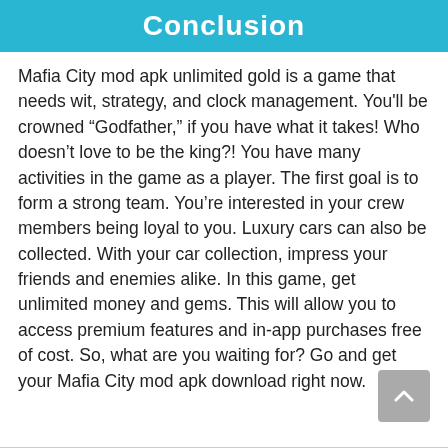Conclusion
Mafia City mod apk unlimited gold is a game that needs wit, strategy, and clock management. You'll be crowned “Godfather,” if you have what it takes! Who doesn’t love to be the king?! You have many activities in the game as a player. The first goal is to form a strong team. You’re interested in your crew members being loyal to you. Luxury cars can also be collected. With your car collection, impress your friends and enemies alike. In this game, get unlimited money and gems. This will allow you to access premium features and in-app purchases free of cost. So, what are you waiting for? Go and get your Mafia City mod apk download right now.